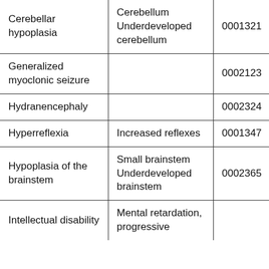| Cerebellar hypoplasia | Cerebellum Underdeveloped cerebellum | 0001321 |
| Generalized myoclonic seizure |  | 0002123 |
| Hydranencephaly |  | 0002324 |
| Hyperreflexia | Increased reflexes | 0001347 |
| Hypoplasia of the brainstem | Small brainstem Underdeveloped brainstem | 0002365 |
| Intellectual disability | Mental retardation, progressive | 0006887 |